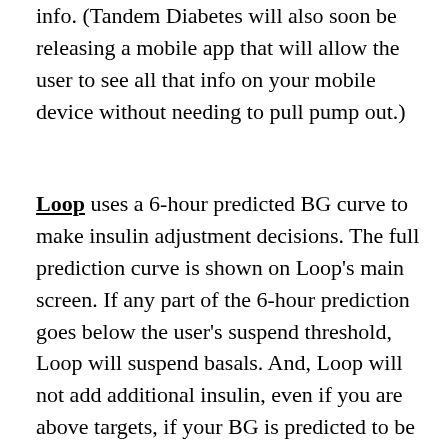info. (Tandem Diabetes will also soon be releasing a mobile app that will allow the user to see all that info on your mobile device without needing to pull pump out.)
Loop uses a 6-hour predicted BG curve to make insulin adjustment decisions. The full prediction curve is shown on Loop's main screen. If any part of the 6-hour prediction goes below the user's suspend threshold, Loop will suspend basals. And, Loop will not add additional insulin, even if you are above targets, if your BG is predicted to be in range within 6 hours. In fact, if you are above target and predicted to go below targets within 6 hours, Loop will start to decrease basals. That full 6-hour window is often difficult for new